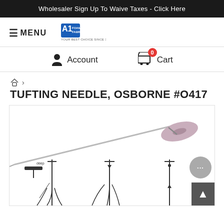Wholesaler Sign Up To Waive Taxes - Click Here
≡ MENU
[Figure (logo): A1 Foam & Fabrics logo — blue badge with A1 text and tagline 'Your Best Choice Since 1888']
Account
0 Cart
🏠 › TUFTING NEEDLE, OSBORNE #O417
[Figure (photo): Product photo of Osborne #O417 tufting needle — a long metal needle with a T-bar handle at top right, shown against a white background. Below are line drawings showing three different usage/installation methods of the tufting needle.]